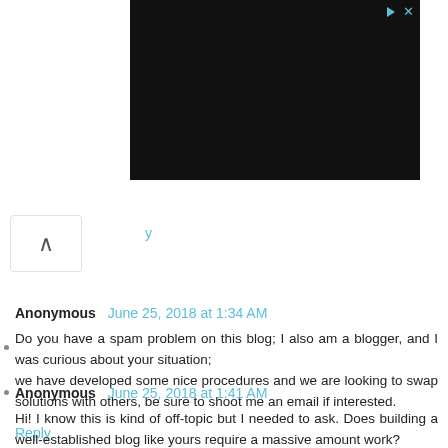[Figure (screenshot): Dark video/ad thumbnail in upper right area with play and close controls]
↑ (scroll up button)
Reply (partial link visible)
Anonymous June 25, 2018 at 1:34 AM
Do you have a spam problem on this blog; I also am a blogger, and I was curious about your situation;
we have developed some nice procedures and we are looking to swap solutions with others, be sure to shoot me an email if interested.
Reply
Anonymous June 25, 2018 at 1:41 AM
Hi! I know this is kind of off-topic but I needed to ask. Does building a well-established blog like yours require a massive amount work?